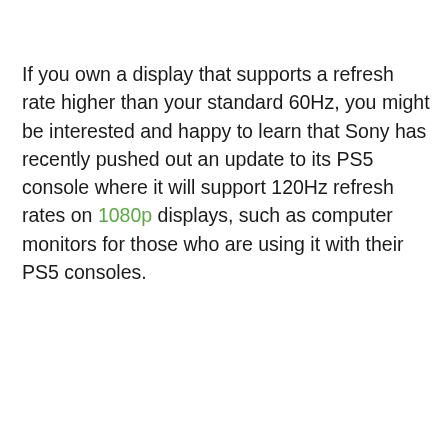If you own a display that supports a refresh rate higher than your standard 60Hz, you might be interested and happy to learn that Sony has recently pushed out an update to its PS5 console where it will support 120Hz refresh rates on 1080p displays, such as computer monitors for those who are using it with their PS5 consoles.